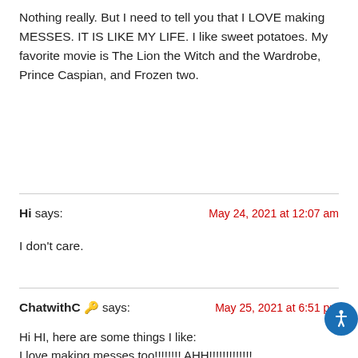Nothing really. But I need to tell you that I LOVE making MESSES. IT IS LIKE MY LIFE. I like sweet potatoes. My favorite movie is The Lion the Witch and the Wardrobe, Prince Caspian, and Frozen two.
Hi says: May 24, 2021 at 12:07 am
I don't care.
ChatwithC 🔑 says: May 25, 2021 at 6:51 pm
Hi HI, here are some things I like:
I love making messes too!!!!!!!! AHH!!!!!!!!!!!!!
I love baked chicken.
My fav. movie is (well I don't have a favorite)